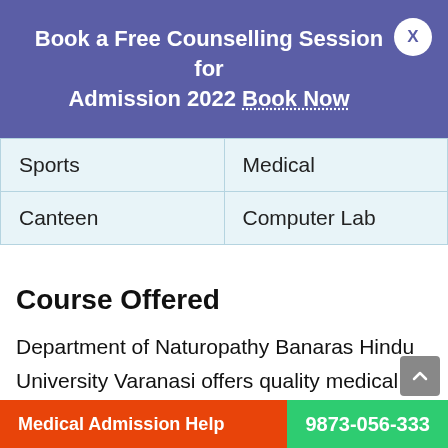Book a Free Counselling Session for Admission 2022 Book Now
| Sports | Medical |
| Canteen | Computer Lab |
Course Offered
Department of Naturopathy Banaras Hindu University Varanasi offers quality medical programs under the supervision of highly qualified faculty and state-of-the-art infrastructure. The College is famous for its
Medical Admission Help  9873-056-333